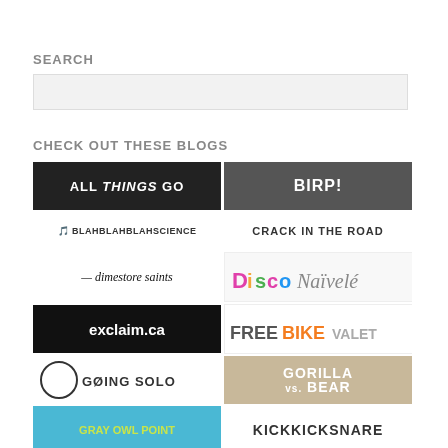SEARCH
[search input box]
CHECK OUT THESE BLOGS
[Figure (logo): All Things Go blog logo — dark background with stylized text]
[Figure (logo): BIRP! blog logo — gray background with white bold text]
[Figure (logo): Blah Blah Blah Science blog logo — small text with icon]
[Figure (logo): Crack in the Road blog logo — uppercase text]
[Figure (logo): Dimestore Saints blog logo — italic serif text with dash]
[Figure (logo): Disco Naïvelé blog logo — colorful text]
[Figure (logo): exclaim.ca blog logo — white text on black]
[Figure (logo): Free Bike Valet blog logo — colorful bold text]
[Figure (logo): Going Solo blog logo — circle icon with text]
[Figure (logo): Gorilla vs Bear blog logo — large text on photo background]
[Figure (logo): Gray Owl Point blog logo — cyan background with yellow-green text]
[Figure (logo): KICKKICKSNARE blog logo — bold text]
[Figure (logo): Knox Road blog logo — green street sign style]
[Figure (logo): Music for Ants blog logo — dark background with white text]